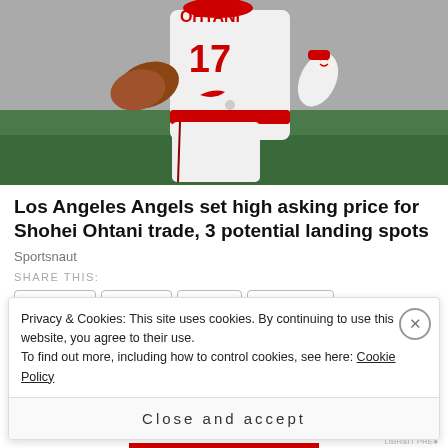[Figure (photo): Baseball player wearing white Los Angeles Angels uniform with number 17, pitching, photographed from behind/side angle showing pitching motion against a green field background]
Los Angeles Angels set high asking price for Shohei Ohtani trade, 3 potential landing spots
Sportsnaut
SHARE THIS:
Pinterest  Twitter  Email  Facebook
Privacy & Cookies: This site uses cookies. By continuing to use this website, you agree to their use.
To find out more, including how to control cookies, see here: Cookie Policy
Close and accept